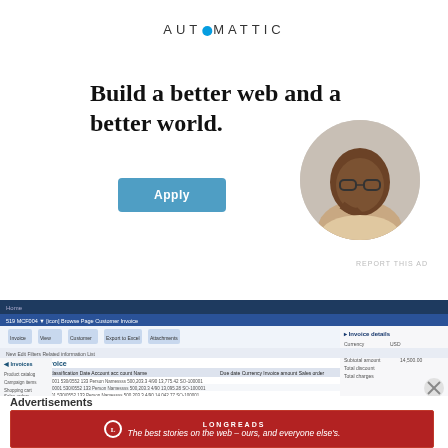[Figure (logo): Automattic logo with circular 'O' in blue]
Build a better web and a better world.
[Figure (illustration): Apply button (blue rounded rectangle)]
[Figure (photo): Circular cropped photo of a man thinking, resting chin on hand]
REPORT THIS AD
[Figure (screenshot): Screenshot of a Microsoft Dynamics or similar ERP Customer Invoice screen]
Advertisements
[Figure (illustration): Longreads banner ad: red background with Longreads logo and text 'The best stories on the web – ours, and everyone else's.']